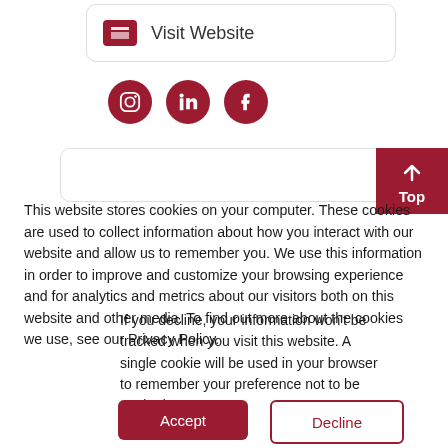[Figure (screenshot): Visit Website button with dark red icon showing browser window symbol]
[Figure (screenshot): Three dark red social media icons: Instagram, LinkedIn, Facebook]
[Figure (screenshot): Top navigation button in dark red with upward arrow and 'Top' label]
This website stores cookies on your computer. These cookies are used to collect information about how you interact with our website and allow us to remember you. We use this information in order to improve and customize your browsing experience and for analytics and metrics about our visitors both on this website and other media. To find out more about the cookies we use, see our Privacy Policy.
If you decline, your information won't be tracked when you visit this website. A single cookie will be used in your browser to remember your preference not to be tracked.
Accept
Decline